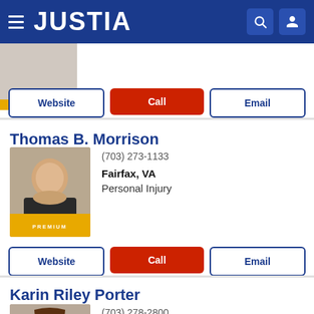JUSTIA
[Figure (screenshot): Partial attorney photo with PREMIUM badge and Website/Call/Email buttons]
Thomas B. Morrison
(703) 273-1133
Fairfax, VA
Personal Injury
Website | Call | Email
Karin Riley Porter
(703) 278-2800
Fairfax, VA